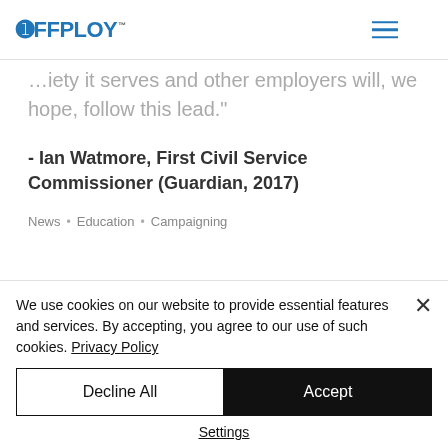OFFPLOY
society it serves and other employers will, we hope, follow this lead.”
- Ian Watmore, First Civil Service Commissioner (Guardian, 2017)
News • Education • Campaigning
We use cookies on our website to provide essential features and services. By accepting, you agree to our use of such cookies. Privacy Policy
Decline All
Accept
Settings